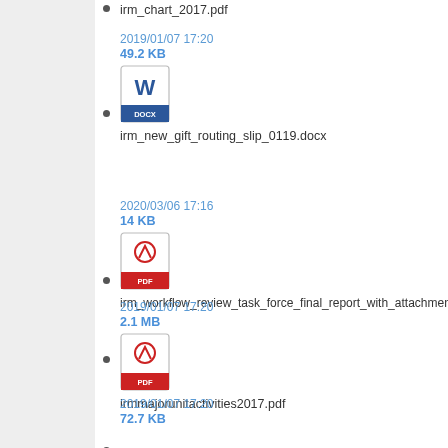irm_chart_2017.pdf (truncated at top)
irm_new_gift_routing_slip_0119.docx
2019/01/07 17:20
49.2 KB
irm_workflow_review_task_force_final_report_with_attachments
2020/03/06 17:16
14 KB
irmmajorunitactivities2017.pdf
2019/01/07 17:20
2.1 MB
irmpersonnelchart2017.pdf
2019/01/07 17:20
72.7 KB